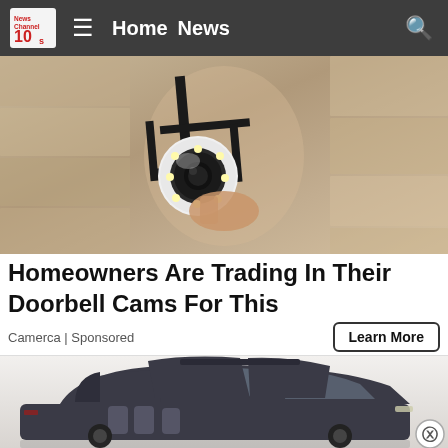News Channel 10 — Home  News
[Figure (photo): Close-up photo of a white outdoor security camera mounted on a black metal bracket attached to a textured beige/tan stone wall. The camera has a circular lens with LED lights around it.]
Homeowners Are Trading In Their Doorbell Cams For This
Camerca | Sponsored
Learn More
[Figure (photo): Concept render of a dark grey luxury SUV with butterfly/gull-wing doors open wide, revealing individual seat pods. The vehicle has a futuristic design with a panoramic roof section extended upward.]